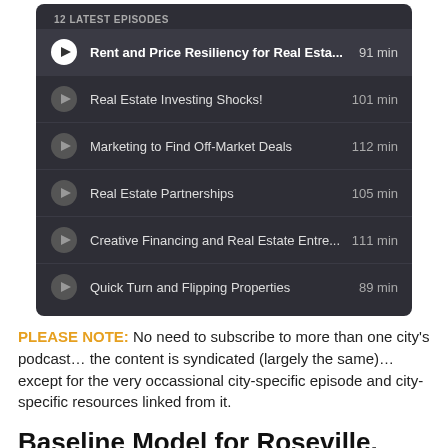[Figure (screenshot): Podcast episode list widget with dark background showing 6 episodes with play buttons and durations]
PLEASE NOTE: No need to subscribe to more than one city's podcast... the content is syndicated (largely the same)... except for the very occassional city-specific episode and city-specific resources linked from it.
Baseline Model for Roseville, California